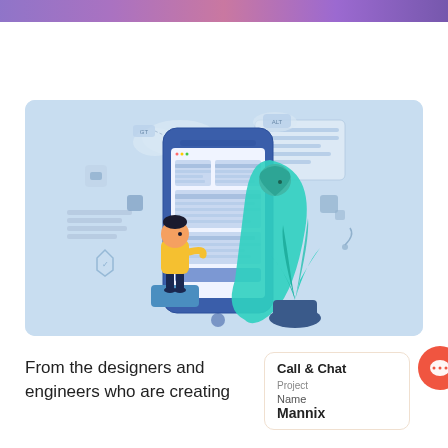[Figure (illustration): Website/app design illustration showing a person in yellow shirt touching a smartphone screen displaying a UI layout, with another person behind the phone and decorative UI elements and a teal plant in the background, all on a light blue rounded rectangle background]
From the designers and engineers who are creating
[Figure (infographic): Call & Chat widget popup showing title 'Call & Chat', a project label, Name field with value 'Mannix', and a coral/red circular chat bubble icon with ellipsis]